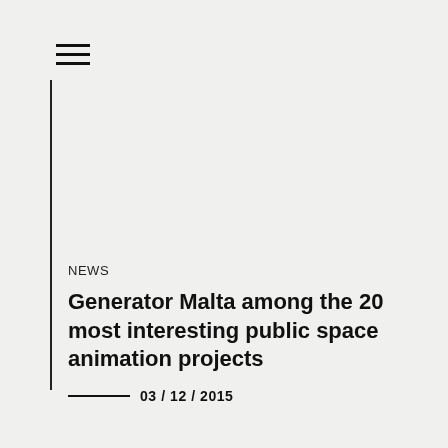≡
NEWS
Generator Malta among the 20 most interesting public space animation projects
03 / 12 / 2015